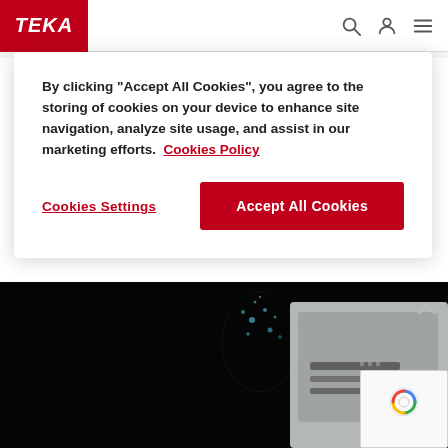TEKA
By clicking “Accept All Cookies”, you agree to the storing of cookies on your device to enhance site navigation, analyze site usage, and assist in our marketing efforts. Cookies Policy
Cookies Settings
Accept All Cookies
[Figure (photo): Dark hero image showing a kitchen appliance (induction hob or cooktop) with water droplets/bubbles on a black background, partially visible on the right side]